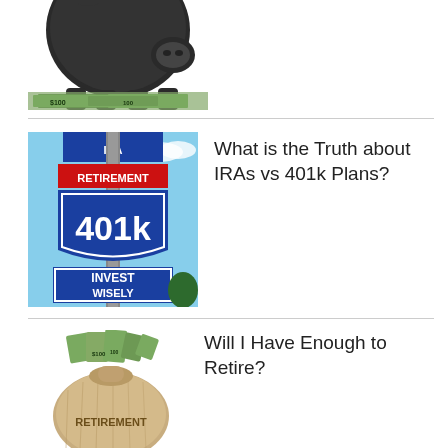[Figure (photo): Partial view of a black piggy bank sitting on top of US dollar bills — cropped at top of page]
[Figure (photo): Interstate highway sign styled with 'RETIREMENT' on a red banner, '401k' on a blue shield, and 'INVEST WISELY' on a blue rectangular sign below, against a blue sky]
What is the Truth about IRAs vs 401k Plans?
[Figure (photo): A burlap money bag overflowing with US dollar bills, labeled 'RETIREMENT' on the bag]
Will I Have Enough to Retire?